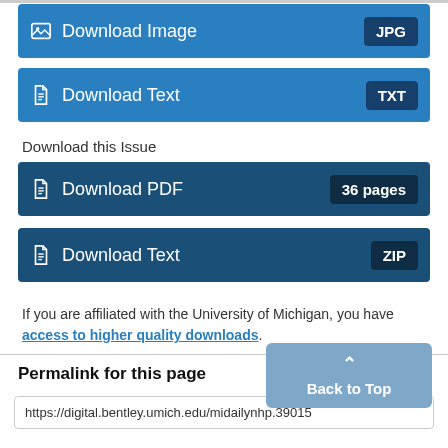Download Image JPG
Download Text TXT
Download this Issue
Download PDF 36 pages
Download Text ZIP
If you are affiliated with the University of Michigan, you have access to higher quality downloads.
Permalink for this page
https://digital.bentley.umich.edu/midailynhp.39015